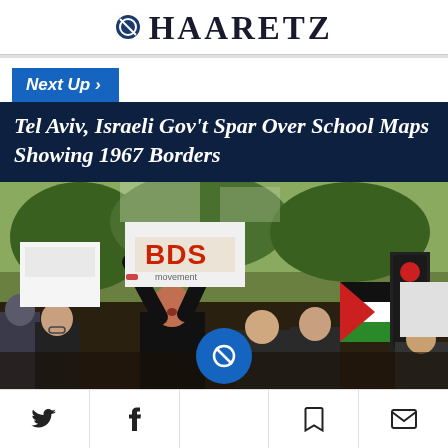HAARETZ
Next Up >
Tel Aviv, Israeli Gov't Spar Over School Maps Showing 1967 Borders
[Figure (photo): Protesters at a demonstration, a woman in center raising her arms, holding signs including one reading 'BDS', Palestinian flags visible in background, traffic light on right side]
Social sharing toolbar with Twitter, Facebook, Haaretz logo, bookmark, and email icons